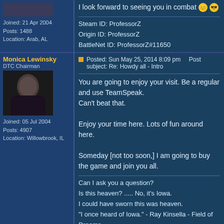Joined: 21 Apr 2004
Posts: 1488
Location: Arab, AL
I look forward to seeing you in combat 😀 😎

Steam ID: ProfessorZ
Origin ID: ProfessorZ
BattleNet ID: ProfessorZ#11650
Monica Lewinsky
DTC Chairman
Joined: 05 Jul 2004
Posts: 4907
Location: Willowbrook, IL
Posted: Sun May 25, 2014 8:09 pm    Post subject: Re: Howdy all - Intro

You are going to enjoy your visit. Be a regular and use TeamSpeak.
Can't beat that.

Enjoy your time here. Lots of fun around here.

Someday [not too soon,] I am going to buy the game and join you all.

Can I ask you a question?
Is this heaven? ..... No, it's Iowa.
I could have sworn this was heaven.
"I once heard of Iowa." - Ray Kinsella - Field of Dreams
3rdRcn
CH Administrator
Posted: Mon May 26, 2014 5:45 am    Post subject:

Welcome aboard!

You definitely aren't the only old guy around